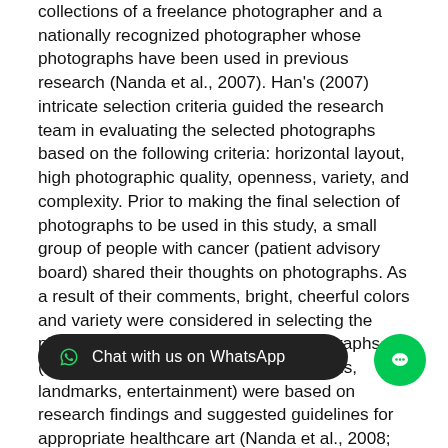collections of a freelance photographer and a nationally recognized photographer whose photographs have been used in previous research (Nanda et al., 2007). Han's (2007) intricate selection criteria guided the research team in evaluating the selected photographs based on the following criteria: horizontal layout, high photographic quality, openness, variety, and complexity. Prior to making the final selection of photographs to be used in this study, a small group of people with cancer (patient advisory board) shared their thoughts on photographs. As a result of their comments, bright, cheerful colors and variety were considered in selecting the photographs. Categories for the photographs (e.g., landscapes, water, flowers, animals, landmarks, entertainment) were based on research findings and suggested guidelines for appropriate healthcare art (Nanda et al., 2008; Ulrich & Gilpin, 2003). E340 Vol. 40, No. 4, July 2013 • Oncology Nursing Forum Procedure Following approval from the Froedtert Hospital and the Medical College of Wisconsin's institutional review board, participants were recruited via personal contact. Patients who met the eligibility requirements w study by a member of the re n this study as data collecto based on a previous request from the nursing staff to have